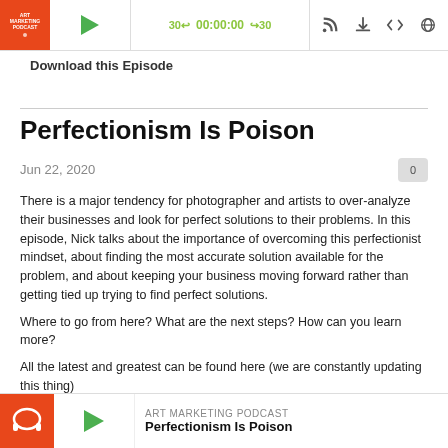[Figure (screenshot): Podcast player bar with Art Marketing Podcast logo (orange), play button, time display 30s 00:00:00 30s in green, and media control icons]
Download this Episode
Perfectionism Is Poison
Jun 22, 2020
There is a major tendency for photographer and artists to over-analyze their businesses and look for perfect solutions to their problems. In this episode, Nick talks about the importance of overcoming this perfectionist mindset, about finding the most accurate solution available for the problem, and about keeping your business moving forward rather than getting tied up trying to find perfect solutions.
Where to go from here? What are the next steps? How can you learn more?
All the latest and greatest can be found here (we are constantly updating this thing)
https://linktr.ee/artstorefronts
[Figure (screenshot): Bottom podcast player preview with Art Marketing Podcast orange logo with headphones, green play button, and text: ART MARKETING PODCAST / Perfectionism Is Poison]